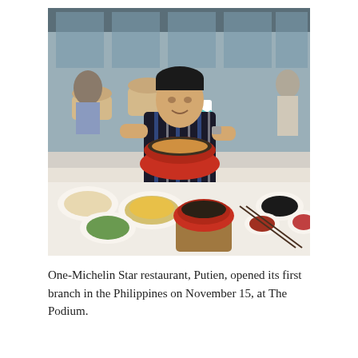[Figure (photo): A young Asian man in a black striped short-sleeve shirt smiles at the camera while holding a red clay pot with food inside, sitting at a restaurant table covered with various dishes including fried rice, vegetables, and other Chinese dishes. The restaurant has light wood furniture, grey chairs, and a bright modern interior. Other diners are visible in the background.]
One-Michelin Star restaurant, Putien, opened its first branch in the Philippines on November 15, at The Podium.